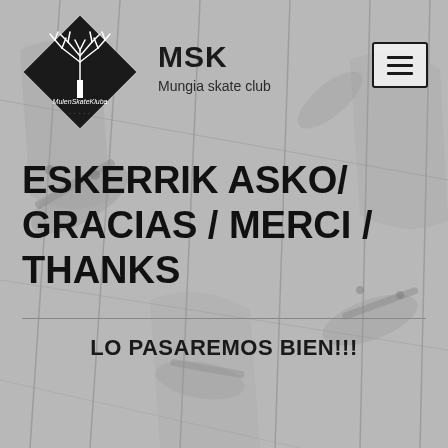[Figure (logo): MSK Mungia Skate Kluba diamond-shaped logo with a tree silhouette on black background]
MSK
Mungia skate club
ESKERRIK ASKO/ GRACIAS / MERCI / THANKS
LO PASAREMOS BIEN!!!